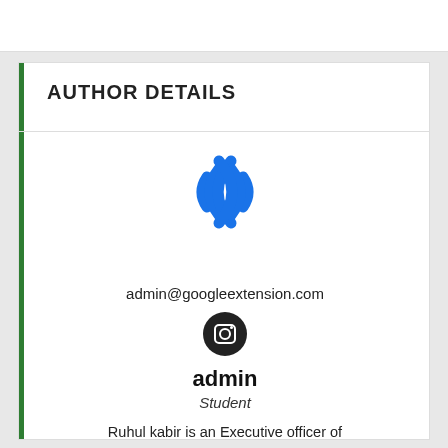AUTHOR DETAILS
[Figure (illustration): WiFi/broadcast signal icon in blue]
admin@googleextension.com
[Figure (logo): Instagram icon — circular dark button with camera outline]
admin
Student
Ruhul kabir is an Executive officer of googleextension.com. He loves the new Technology for learing. He normally published